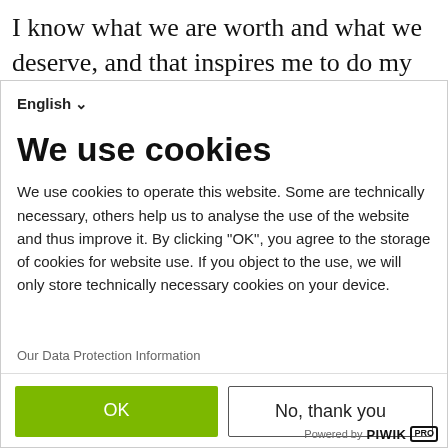I know what we are worth and what we deserve, and that inspires me to do my part to make this real, not just for my personal gain but for collective gain for queer Black people in this continent, and in the world in general. That motivates me and keeps me
English ▾
We use cookies
We use cookies to operate this website. Some are technically necessary, others help us to analyse the use of the website and thus improve it. By clicking "OK", you agree to the storage of cookies for website use. If you object to the use, we will only store technically necessary cookies on your device.
Our Data Protection Information
OK
No, thank you
Powered by PIWIK PRO